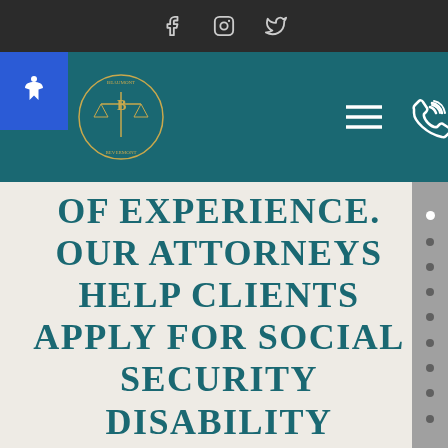Social media icons: Facebook, Instagram, Twitter
[Figure (screenshot): Law firm navigation bar with accessibility icon, firm logo (Beaumont Bevermont with scales of justice emblem), hamburger menu icon, and phone/call icon on teal background]
OF EXPERIENCE. OUR ATTORNEYS HELP CLIENTS APPLY FOR SOCIAL SECURITY DISABILITY BENEFITS. WE HELP APPEAL SSD & SSI DENIALS IN MARYSVILLE. WE ARE A FAMILY OF ATTORNEYS WITH OUR LAW